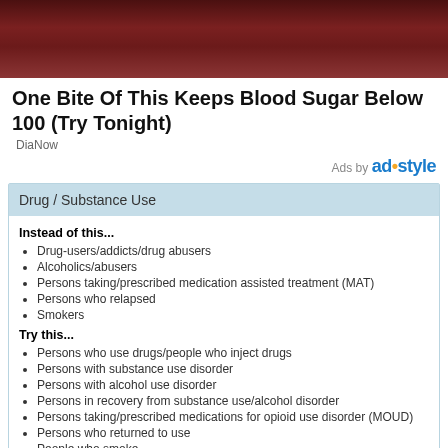[Figure (photo): Dark reddish-brown food image at top of page, part of an advertisement]
One Bite Of This Keeps Blood Sugar Below 100 (Try Tonight)
DiaNow
Ads by adstyle
Drug / Substance Use
Instead of this...
Drug-users/addicts/drug abusers
Alcoholics/abusers
Persons taking/prescribed medication assisted treatment (MAT)
Persons who relapsed
Smokers
Try this...
Persons who use drugs/people who inject drugs
Persons with substance use disorder
Persons with alcohol use disorder
Persons in recovery from substance use/alcohol disorder
Persons taking/prescribed medications for opioid use disorder (MOUD)
Persons who returned to use
People who smoke